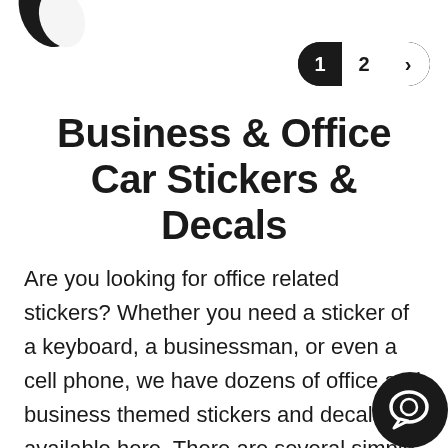[Figure (logo): Partial logo — dark leaf/teardrop shape partially visible at top-left corner]
[Figure (other): Pagination control showing page 1 (active, dark background) and page 2 (white background) with a next arrow, pill/rounded rectangle shape]
Business & Office Car Stickers & Decals
Are you looking for office related stickers? Whether you need a sticker of a keyboard, a businessman, or even a cell phone, we have dozens of office and business themed stickers and decals available here. There are several simple designs that you can customize to put a sign for your business, a display showing
[Figure (other): Chat/message bubble icon — dark circular speech bubble at bottom-right corner]